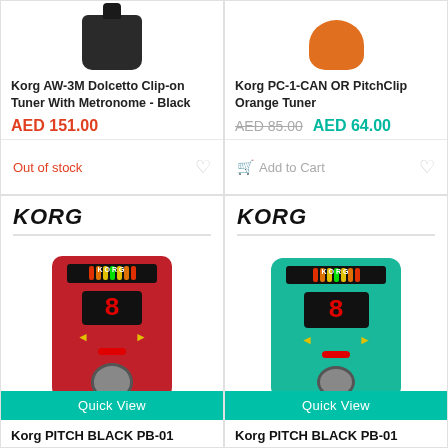[Figure (photo): Korg AW-3M Dolcetto Clip-on Tuner with Metronome - Black product image]
Korg AW-3M Dolcetto Clip-on Tuner With Metronome - Black
AED 151.00
Out of stock
[Figure (photo): Korg PC-1-CAN OR PitchClip Orange Tuner product image]
Korg PC-1-CAN OR PitchClip Orange Tuner
AED 85.00 AED 64.00
Add to Cart
[Figure (photo): Korg PITCH BLACK PB-01 red pedal tuner product image with Quick View button]
Korg PITCH BLACK PB-01
[Figure (photo): Korg PITCH BLACK PB-01 teal pedal tuner product image with Quick View button]
Korg PITCH BLACK PB-01